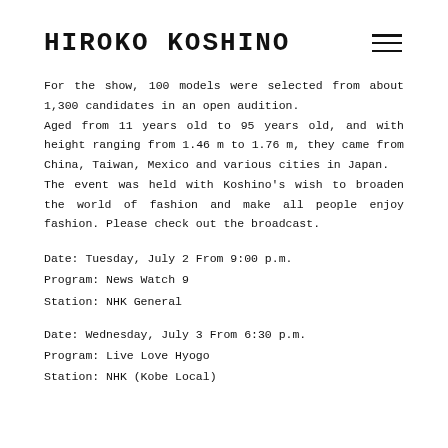Hiroko Koshino
For the show, 100 models were selected from about 1,300 candidates in an open audition. Aged from 11 years old to 95 years old, and with height ranging from 1.46 m to 1.76 m, they came from China, Taiwan, Mexico and various cities in Japan. The event was held with Koshino's wish to broaden the world of fashion and make all people enjoy fashion. Please check out the broadcast.
Date: Tuesday, July 2 From 9:00 p.m.
Program: News Watch 9
Station: NHK General
Date: Wednesday, July 3 From 6:30 p.m.
Program: Live Love Hyogo
Station: NHK (Kobe Local)